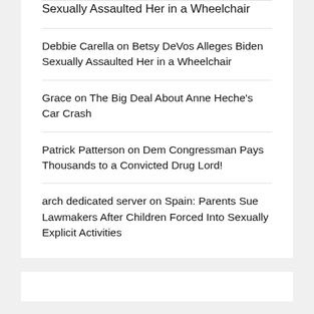Sexually Assaulted Her in a Wheelchair
Debbie Carella on Betsy DeVos Alleges Biden Sexually Assaulted Her in a Wheelchair
Grace on The Big Deal About Anne Heche's Car Crash
Patrick Patterson on Dem Congressman Pays Thousands to a Convicted Drug Lord!
arch dedicated server on Spain: Parents Sue Lawmakers After Children Forced Into Sexually Explicit Activities